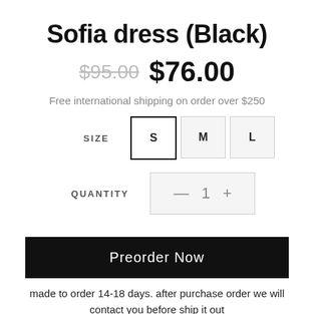Sofia dress (Black)
$95.00  $76.00
Free international shipping on order over $250
SIZE   S  M  L
QUANTITY   — 1 +
Preorder Now
made to order 14-18 days. after purchase order we will contact you before ship it out